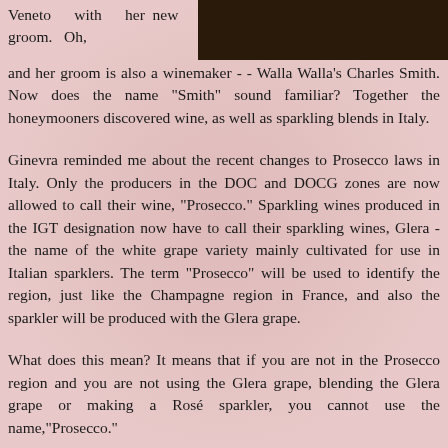Veneto with her new groom. Oh, and her groom is also a winemaker - - Walla Walla's Charles Smith. Now does the name "Smith" sound familiar? Together the honeymooners discovered wine, as well as sparkling blends in Italy.
[Figure (photo): A dark photograph showing people, likely at a vineyard or winery event.]
Ginevra reminded me about the recent changes to Prosecco laws in Italy. Only the producers in the DOC and DOCG zones are now allowed to call their wine, "Prosecco." Sparkling wines produced in the IGT designation now have to call their sparkling wines, Glera - the name of the white grape variety mainly cultivated for use in Italian sparklers. The term "Prosecco" will be used to identify the region, just like the Champagne region in France, and also the sparkler will be produced with the Glera grape.
What does this mean? It means that if you are not in the Prosecco region and you are not using the Glera grape, blending the Glera grape or making a Rosé sparkler, you cannot use the name,"Prosecco."